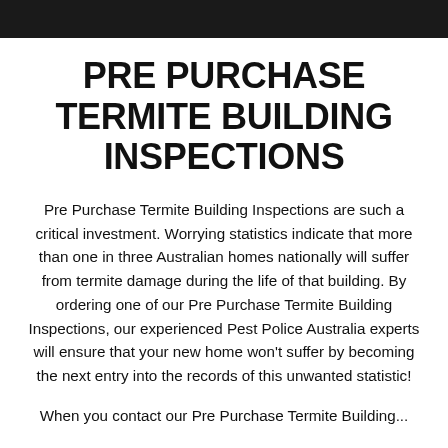PRE PURCHASE TERMITE BUILDING INSPECTIONS
Pre Purchase Termite Building Inspections are such a critical investment. Worrying statistics indicate that more than one in three Australian homes nationally will suffer from termite damage during the life of that building. By ordering one of our Pre Purchase Termite Building Inspections, our experienced Pest Police Australia experts will ensure that your new home won't suffer by becoming the next entry into the records of this unwanted statistic!
When you contact our Pre Purchase Termite Building...